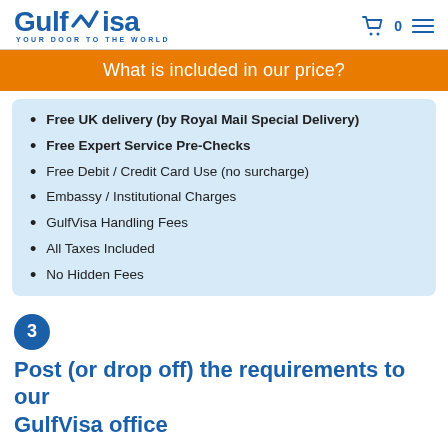Gulf Visa — YOUR DOOR TO THE WORLD
What is included in our price?
Free UK delivery (by Royal Mail Special Delivery)
Free Expert Service Pre-Checks
Free Debit / Credit Card Use (no surcharge)
Embassy / Institutional Charges
GulfVisa Handling Fees
All Taxes Included
No Hidden Fees
3
Post (or drop off) the requirements to our GulfVisa office